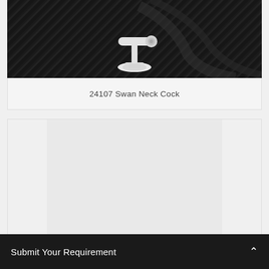[Figure (photo): White swan neck cock plumbing fitting on a dark/black background with diagonal texture lines]
24107 Swan Neck Cock
[Figure (other): Empty product card placeholder with light gray background]
Submit Your Requirement